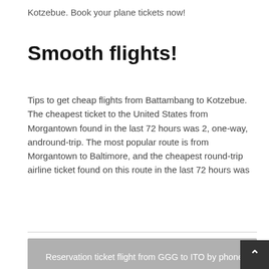Kotzebue. Book your plane tickets now!
Smooth flights!
Tips to get cheap flights from Battambang to Kotzebue. The cheapest ticket to the United States from Morgantown found in the last 72 hours was 2, one-way, andround-trip. The most popular route is from Morgantown to Baltimore, and the cheapest round-trip airline ticket found on this route in the last 72 hours was
Reservation ticket flight from GGG to ITO by phone
Cancel ticket flight from SJT to XWA by phone
Change flight ticket Lafayette to Denver by phone